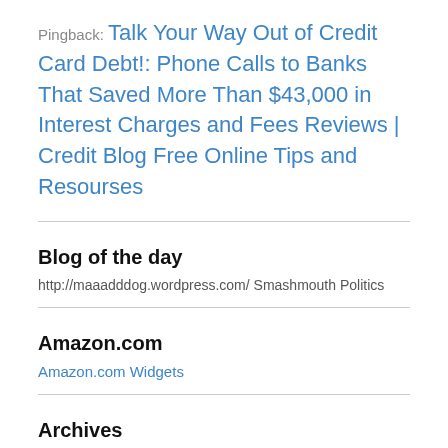Pingback: Talk Your Way Out of Credit Card Debt!: Phone Calls to Banks That Saved More Than $43,000 in Interest Charges and Fees Reviews | Credit Blog Free Online Tips and Resourses
Blog of the day
http://maaadddog.wordpress.com/ Smashmouth Politics
Amazon.com
Amazon.com Widgets
Archives